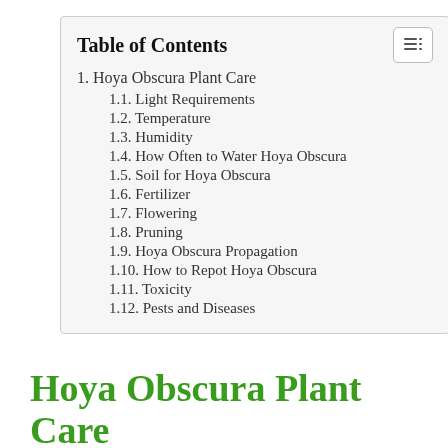Table of Contents
1. Hoya Obscura Plant Care
1.1. Light Requirements
1.2. Temperature
1.3. Humidity
1.4. How Often to Water Hoya Obscura
1.5. Soil for Hoya Obscura
1.6. Fertilizer
1.7. Flowering
1.8. Pruning
1.9. Hoya Obscura Propagation
1.10. How to Repot Hoya Obscura
1.11. Toxicity
1.12. Pests and Diseases
Hoya Obscura Plant Care